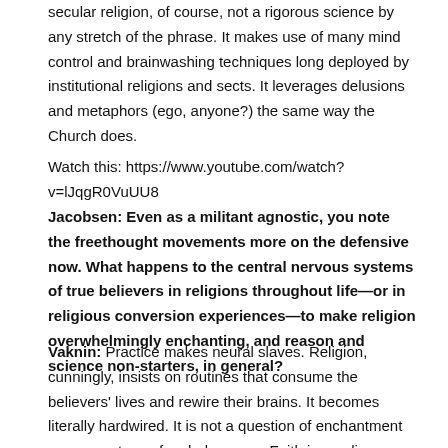secular religion, of course, not a rigorous science by any stretch of the phrase. It makes use of many mind control and brainwashing techniques long deployed by institutional religions and sects. It leverages delusions and metaphors (ego, anyone?) the same way the Church does.
Watch this: https://www.youtube.com/watch?v=lJqgR0VuUU8
Jacobsen: Even as a militant agnostic, you note the freethought movements more on the defensive now. What happens to the central nervous systems of true believers in religions throughout life—or in religious conversion experiences—to make religion overwhelmingly enchanting, and reason and science non-starters, in general?
Vaknin: Practice makes neural slaves. Religion, cunningly, insists on routines that consume the believers' lives and rewire their brains. It becomes literally hardwired. It is not a question of enchantment — more a type of verbal surgery. Faith is an alien